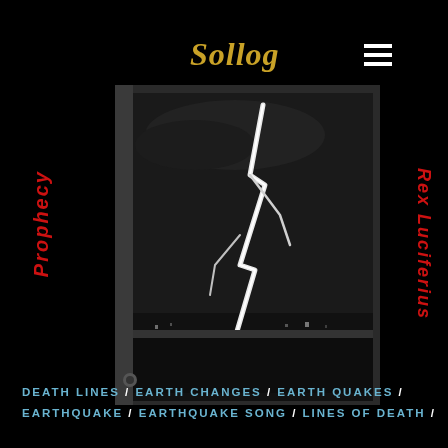Sollog
[Figure (illustration): Album cover art showing a dramatic black and white lightning bolt striking over water at night, displayed as a CD/album case with a dark gray border]
Prophecy
Rex Luciferius
DEATH LINES / EARTH CHANGES / EARTH QUAKES / EARTHQUAKE / EARTHQUAKE SONG / LINES OF DEATH /